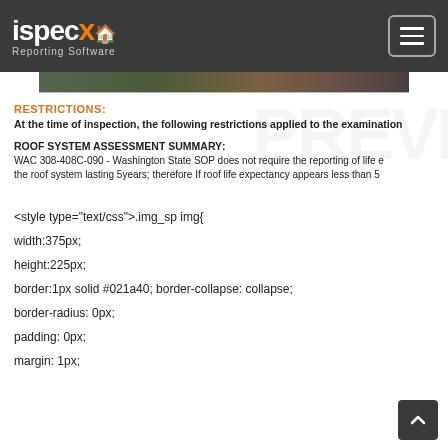ispecx Reporting Software
[Figure (photo): Partial image of a roof or outdoor scene, visible as a narrow strip]
RESTRICTIONS:
At the time of inspection, the following restrictions applied to the examination
ROOF SYSTEM ASSESSMENT SUMMARY:
WAC 308-408C-090 - Washington State SOP does not require the reporting of life e the roof system lasting 5years; therefore If roof life expectancy appears less than 5
<style type="text/css">.img_sp img{
width:375px;
height:225px;
border:1px solid #021a40; border-collapse: collapse;
border-radius: 0px;
padding: 0px;
margin: 1px;